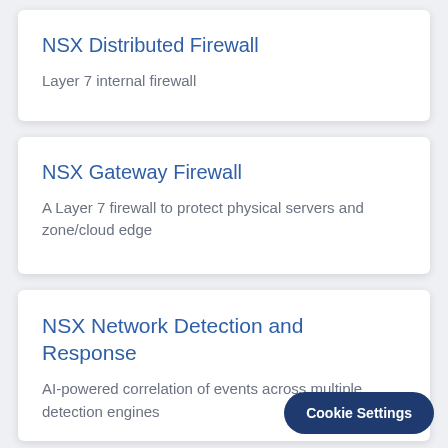NSX Distributed Firewall
Layer 7 internal firewall
NSX Gateway Firewall
A Layer 7 firewall to protect physical servers and zone/cloud edge
NSX Network Detection and Response
AI-powered correlation of events across multiple detection engines
Cookie Settings